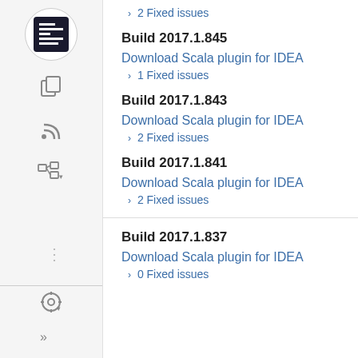› 2 Fixed issues
Build 2017.1.845
Download Scala plugin for IDEA
› 1 Fixed issues
Build 2017.1.843
Download Scala plugin for IDEA
› 2 Fixed issues
Build 2017.1.841
Download Scala plugin for IDEA
› 2 Fixed issues
Build 2017.1.837
Download Scala plugin for IDEA
› 0 Fixed issues